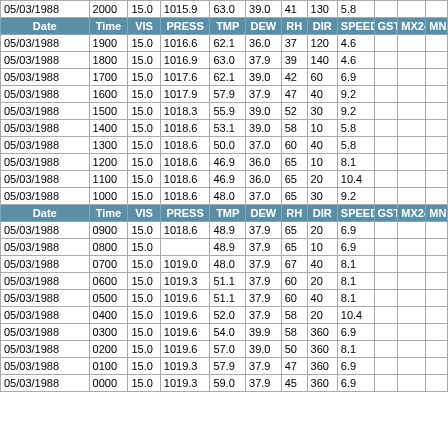| Date | Time | VIS | PRESS | TMP | DEW | RH | DIR | SPEED | GST | MX24 | MN |
| --- | --- | --- | --- | --- | --- | --- | --- | --- | --- | --- | --- |
| 05/03/1988 | 2000 | 15.0 | 1015.9 | 63.0 | 39.0 | 41 | 130 | 5.8 |  |  |  |
| HEADER |  |  |  |  |  |  |  |  |  |  |  |
| 05/03/1988 | 1900 | 15.0 | 1016.6 | 62.1 | 36.0 | 37 | 120 | 4.6 |  |  |  |
| 05/03/1988 | 1800 | 15.0 | 1016.9 | 63.0 | 37.9 | 39 | 140 | 4.6 |  |  |  |
| 05/03/1988 | 1700 | 15.0 | 1017.6 | 62.1 | 39.0 | 42 | 60 | 6.9 |  |  |  |
| 05/03/1988 | 1600 | 15.0 | 1017.9 | 57.9 | 37.9 | 47 | 40 | 9.2 |  |  |  |
| 05/03/1988 | 1500 | 15.0 | 1018.3 | 55.9 | 39.0 | 52 | 30 | 9.2 |  |  |  |
| 05/03/1988 | 1400 | 15.0 | 1018.6 | 53.1 | 39.0 | 58 | 10 | 5.8 |  |  |  |
| 05/03/1988 | 1300 | 15.0 | 1018.6 | 50.0 | 37.0 | 60 | 40 | 5.8 |  |  |  |
| 05/03/1988 | 1200 | 15.0 | 1018.6 | 46.9 | 36.0 | 65 | 10 | 8.1 |  |  |  |
| 05/03/1988 | 1100 | 15.0 | 1018.6 | 46.9 | 36.0 | 65 | 20 | 10.4 |  |  |  |
| 05/03/1988 | 1000 | 15.0 | 1018.6 | 48.0 | 37.0 | 65 | 30 | 9.2 |  |  |  |
| HEADER |  |  |  |  |  |  |  |  |  |  |  |
| 05/03/1988 | 0900 | 15.0 | 1018.6 | 48.9 | 37.9 | 65 | 20 | 6.9 |  |  |  |
| 05/03/1988 | 0800 | 15.0 |  | 48.9 | 37.9 | 65 | 10 | 6.9 |  |  |  |
| 05/03/1988 | 0700 | 15.0 | 1019.0 | 48.0 | 37.9 | 67 | 40 | 8.1 |  |  |  |
| 05/03/1988 | 0600 | 15.0 | 1019.3 | 51.1 | 37.9 | 60 | 20 | 8.1 |  |  |  |
| 05/03/1988 | 0500 | 15.0 | 1019.6 | 51.1 | 37.9 | 60 | 40 | 8.1 |  |  |  |
| 05/03/1988 | 0400 | 15.0 | 1019.6 | 52.0 | 37.9 | 58 | 20 | 10.4 |  |  |  |
| 05/03/1988 | 0300 | 15.0 | 1019.6 | 54.0 | 39.9 | 58 | 360 | 6.9 |  |  |  |
| 05/03/1988 | 0200 | 15.0 | 1019.6 | 57.0 | 39.0 | 50 | 360 | 8.1 |  |  |  |
| 05/03/1988 | 0100 | 15.0 | 1019.3 | 57.9 | 37.9 | 47 | 360 | 6.9 |  |  |  |
| 05/03/1988 | 0000 | 15.0 | 1019.3 | 59.0 | 37.9 | 45 | 360 | 6.9 |  |  |  |